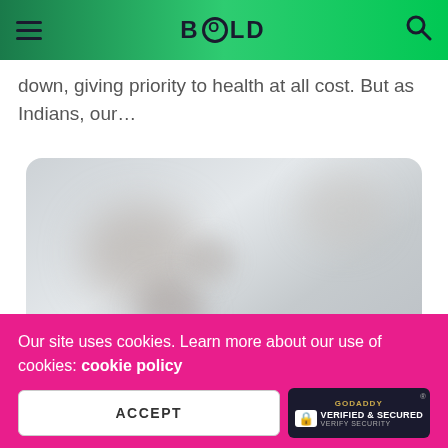BOLD
down, giving priority to health at all cost. But as Indians, our…
[Figure (photo): A blurred/obscured photograph with grey and muted tones, shown in a rounded rectangle frame.]
Our site uses cookies. Learn more about our use of cookies: cookie policy
ACCEPT